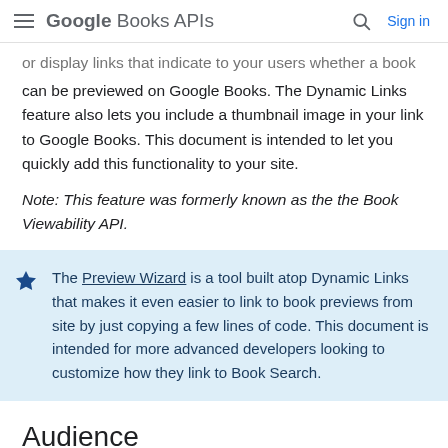Google Books APIs  Sign in
or display links that indicate to your users whether a book can be previewed on Google Books. The Dynamic Links feature also lets you include a thumbnail image in your link to Google Books. This document is intended to let you quickly add this functionality to your site.
Note: This feature was formerly known as the the Book Viewability API.
The Preview Wizard is a tool built atop Dynamic Links that makes it even easier to link to book previews from site by just copying a few lines of code. This document is intended for more advanced developers looking to customize how they link to Book Search.
Audience